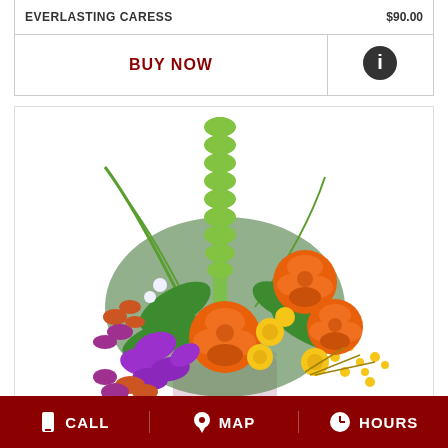| Product | Price |
| --- | --- |
| EVERLASTING CARESS | $90.00 |
| Action | Info |
| --- | --- |
| BUY NOW | ℹ |
[Figure (photo): Floral arrangement with orange roses, purple orchids, yellow flowers, and tall green bell-shaped blooms in a white/pink vase on a white background]
CALL  MAP  HOURS